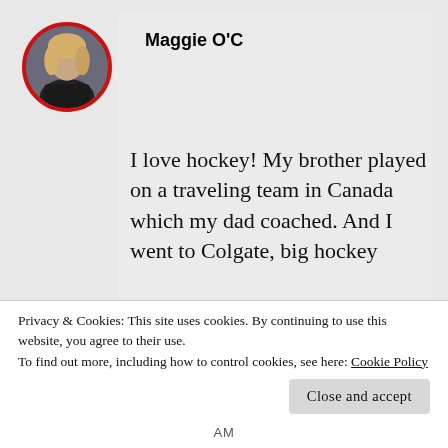[Figure (photo): Circular avatar photo of a woman with blonde hair, outlined with a thick red border]
Maggie O'C
I love hockey! My brother played on a traveling team in Canada which my dad coached. And I went to Colgate, big hockey
Privacy & Cookies: This site uses cookies. By continuing to use this website, you agree to their use.
To find out more, including how to control cookies, see here: Cookie Policy
Close and accept
AM